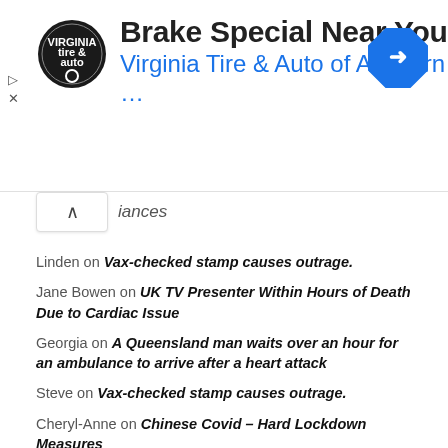[Figure (other): Advertisement banner: Virginia Tire & Auto of Ashburn - Brake Special Near You. Contains logo, text, and navigation arrow icon.]
iances
Linden on Vax-checked stamp causes outrage.
Jane Bowen on UK TV Presenter Within Hours of Death Due to Cardiac Issue
Georgia on A Queensland man waits over an hour for an ambulance to arrive after a heart attack
Steve on Vax-checked stamp causes outrage.
Cheryl-Anne on Chinese Covid – Hard Lockdown Measures
Rolf on Vax-checked stamp causes outrage.
Jill french on Doctor left shaken after a phone call with the WHO
abc on YouTube superstar iJustine, opens up about blood clots